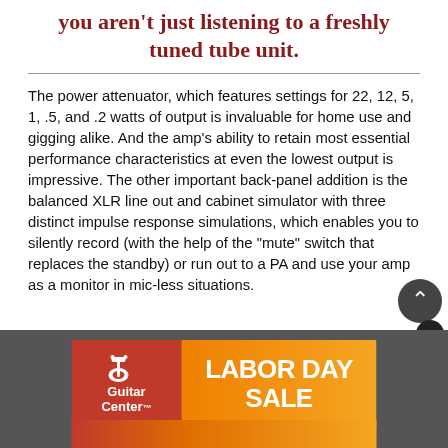you aren't just listening to a freshly tuned tube unit.
The power attenuator, which features settings for 22, 12, 5, 1, .5, and .2 watts of output is invaluable for home use and gigging alike. And the amp's ability to retain most essential performance characteristics at even the lowest output is impressive. The other important back-panel addition is the balanced XLR line out and cabinet simulator with three distinct impulse response simulations, which enables you to silently record (with the help of the "mute" switch that replaces the standby) or run out to a PA and use your amp as a monitor in mic-less situations.
[Figure (advertisement): Guitar Center Labor Day Sale advertisement banner with red Guitar Center logo on left and orange gradient background with white bold text 'LABOR DAY SALE' on right]